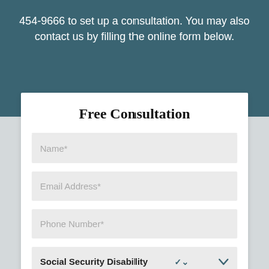454-9666 to set up a consultation. You may also contact us by filling the online form below.
Free Consultation
Name*
Email Address*
Phone Number*
Social Security Disability
Message*